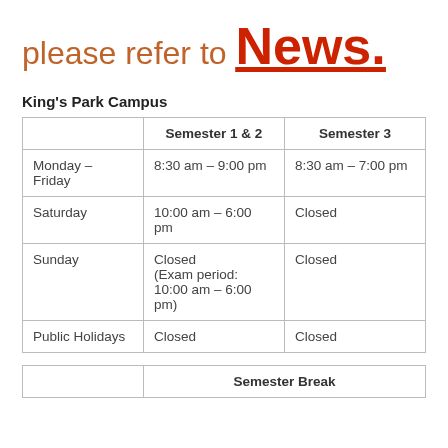please refer to News.
King's Park Campus
|  | Semester 1 & 2 | Semester 3 |
| --- | --- | --- |
| Monday – Friday | 8:30 am – 9:00 pm | 8:30 am – 7:00 pm |
| Saturday | 10:00 am – 6:00 pm | Closed |
| Sunday | Closed (Exam period: 10:00 am – 6:00 pm) | Closed |
| Public Holidays | Closed | Closed |
|  | Semester Break |
| --- | --- |